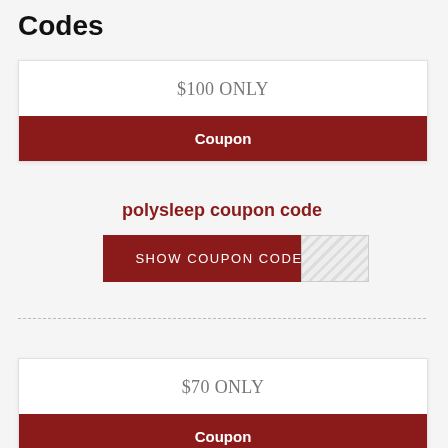Codes
$100 ONLY
Coupon
polysleep coupon code
SHOW COUPON CODE
$70 ONLY
Coupon